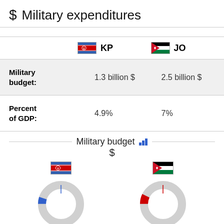$ Military expenditures
|  | KP | JO |
| --- | --- | --- |
| Military budget: | 1.3 billion $ | 2.5 billion $ |
| Percent of GDP: | 4.9% | 7% |
Military budget $
[Figure (donut-chart): Two donut charts showing military budget as percent of GDP for KP (North Korea) and JO (Jordan). KP donut partially filled in blue, JO donut partially filled in red.]